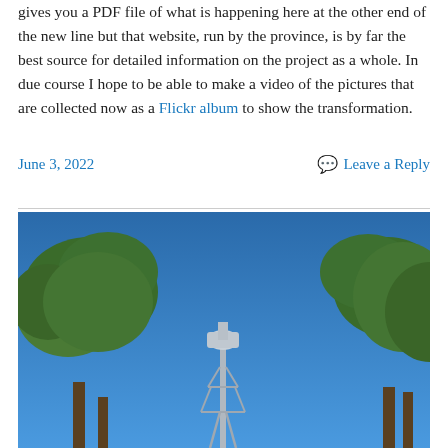gives you a PDF file of what is happening here at the other end of the new line but that website, run by the province, is by far the best source for detailed information on the project as a whole. In due course I hope to be able to make a video of the pictures that are collected now as a Flickr album to show the transformation.
June 3, 2022    Leave a Reply
[Figure (photo): Outdoor photograph showing a blue sky with green trees on the left and right sides, and a tall communication tower or mast structure visible in the center-bottom of the image.]